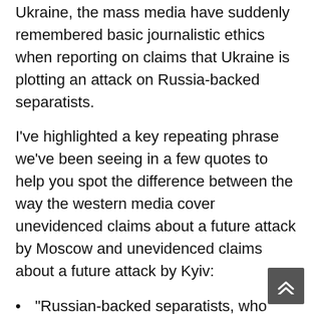Ukraine, the mass media have suddenly remembered basic journalistic ethics when reporting on claims that Ukraine is plotting an attack on Russia-backed separatists.
I've highlighted a key repeating phrase we've been seeing in a few quotes to help you spot the difference between the way the western media cover unevidenced claims about a future attack by Moscow and unevidenced claims about a future attack by Kyiv:
“Russian-backed separatists, who have been fighting the Ukrainian government for years, have asserted, without evidence, that Ukraine was planning a large-scale attack on territory they control.”